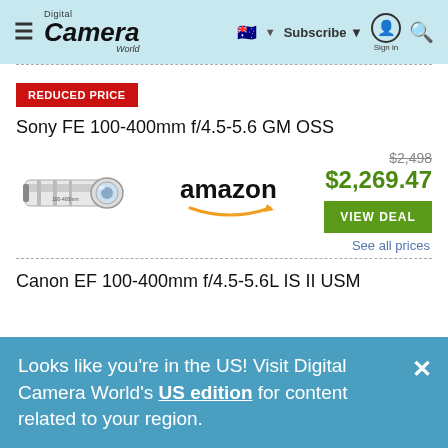Digital Camera World | Subscribe | Sign in
REDUCED PRICE
Sony FE 100-400mm f/4.5-5.6 GM OSS
[Figure (photo): Sony FE 100-400mm telephoto lens product photo]
[Figure (logo): Amazon logo with orange arrow]
$2,498 (original price, crossed out) $2,269.47
VIEW DEAL
See all prices
Canon EF 100-400mm f/4.5-5.6L IS II USM
Looks like you're in the US! Visit Digital Camera World's US edition for content related to your region.